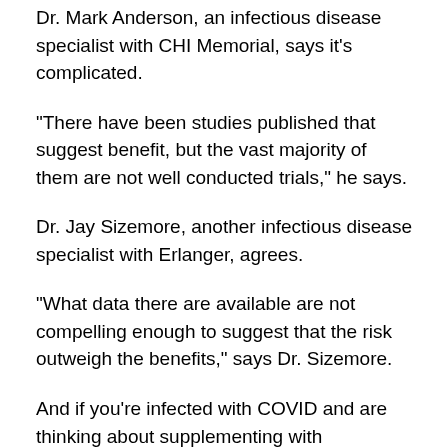Dr. Mark Anderson, an infectious disease specialist with CHI Memorial, says it's complicated.
“There have been studies published that suggest benefit, but the vast majority of them are not well conducted trials,” he says.
Dr. Jay Sizemore, another infectious disease specialist with Erlanger, agrees.
“What data there are available are not compelling enough to suggest that the risk outweigh the benefits,” says Dr. Sizemore.
And if you’re infected with COVID and are thinking about supplementing with ivermectin, both doctors suggest to think twice.